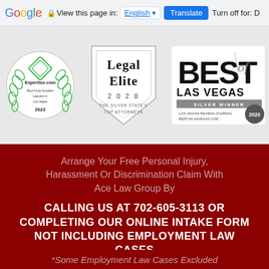Google  View this page in: English  Translate  Turn off for: D
[Figure (logo): Expertise.com Best Truck Accident Lawyers in Las Vegas 2022 badge with laurel wreath]
[Figure (logo): Legal Elite 2020 The Silver State's Top Attorneys badge]
[Figure (logo): Best of Las Vegas Silver Winner Las Vegas Review-Journal 2020 badge]
Arrange Your Free Personal Injury, Harassment Or Discrimination Claim With Ace Law Group By
CALLING US AT 702-605-3113 OR COMPLETING OUR ONLINE INTAKE FORM NOT INCLUDING EMPLOYMENT LAW CASES
*Some Employment Law Cases Excluded